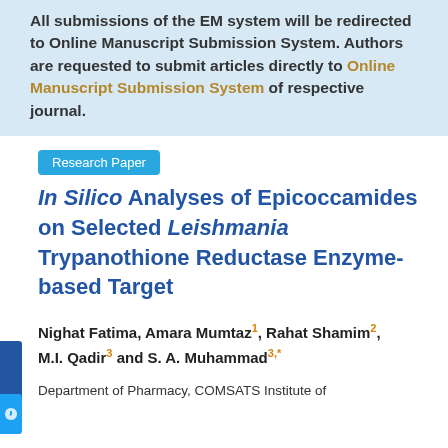All submissions of the EM system will be redirected to Online Manuscript Submission System. Authors are requested to submit articles directly to Online Manuscript Submission System of respective journal.
Research Paper
In Silico Analyses of Epicoccamides on Selected Leishmania Trypanothione Reductase Enzyme-based Target
Nighat Fatima, Amara Mumtaz1, Rahat Shamim2, M.I. Qadir3 and S. A. Muhammad3,*
Department of Pharmacy, COMSATS Institute of